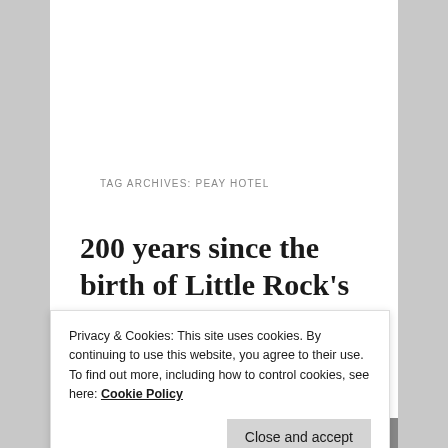LR Cultural Sites by Discipline | Pulitzer Prize | Shows Seen | Theatre Reviews | Tony Awards
TAG ARCHIVES: PEAY HOTEL
200 years since the birth of Little Rock's 23rd Mayor, early settler Gordon Neill Peay
Privacy & Cookies: This site uses cookies. By continuing to use this website, you agree to their use.
To find out more, including how to control cookies, see here: Cookie Policy
Close and accept